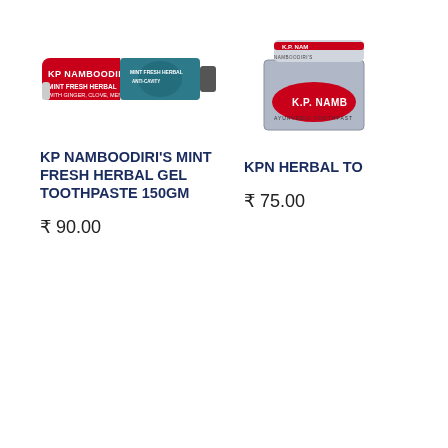[Figure (photo): KP Namboodiri's Mint Fresh Herbal Gel toothpaste tube, white and green packaging with red brand label]
[Figure (photo): KPN Herbal toothpaste box and tube, grey packaging with red label, Ayurvedic Toothpaste, partially cropped on right]
KP NAMBOODIRI'S MINT FRESH HERBAL GEL TOOTHPASTE 150GM
₹ 90.00
KPN HERBAL TO...
₹ 75.00